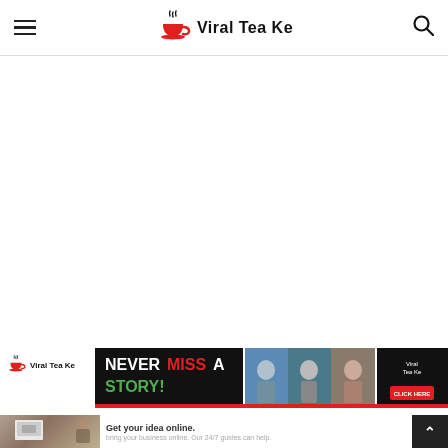Viral Tea Ke — site header with hamburger menu and search icon
[Figure (logo): Viral Tea Ke logo: red teacup with steam and bold text 'Viral Tea Ke']
[Figure (screenshot): Viral Tea Ke website screenshot banner: 'NEVER MISS A STORY!' in green/white on black background with news photo collage]
[Figure (screenshot): Advertisement area showing 'Get your idea online.' with a blurred background photo and business promotion text. Small 'Viral Tea Ke' logo at bottom left. Scroll-to-top button at bottom right.]